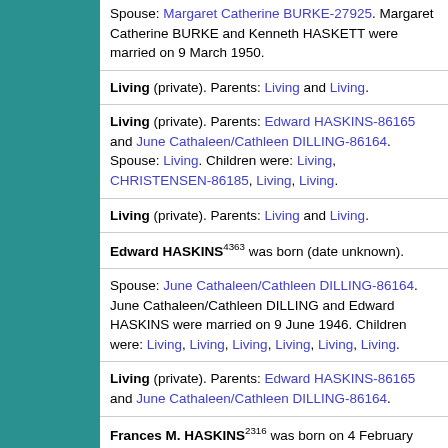Spouse: Margaret Catherine BURKE-27925. Margaret Catherine BURKE and Kenneth HASKETT were married on 9 March 1950.
Living (private). Parents: Living and Living.
Living (private). Parents: Edward HASKINS-86165 and June Cathaleen/Cathleen DILLING-86164. Spouse: Living. Children were: Living, CHRISTENSEN-86185, Living, Living.
Living (private). Parents: Living and Living.
Edward HASKINS^4363 was born (date unknown).
Spouse: June Cathaleen/Cathleen DILLING-86164. June Cathaleen/Cathleen DILLING and Edward HASKINS were married on 9 June 1946. Children were: Living, Living, Living, Living, Living, Living.
Living (private). Parents: Edward HASKINS-86165 and June Cathaleen/Cathleen DILLING-86164.
Frances M. HASKINS^2316 was born on 4 February 1838 in Washington, Berkshire Co., MA. She died on 11 March 1924 at